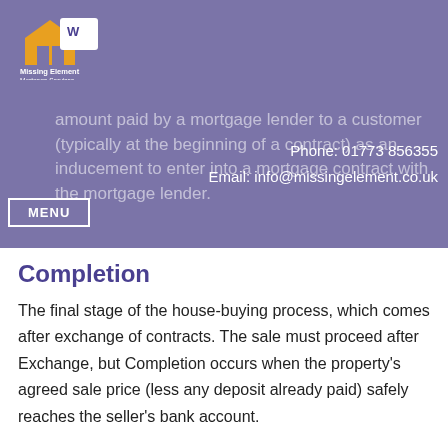[Figure (logo): Missing Element Mortgage Services logo — house/building icon in gold/orange with a white tag, company name below in white text]
amount paid by a mortgage lender to a customer (typically at the beginning of a contract) as an inducement to enter into a mortgage contract with the mortgage lender.
Phone: 01773 856355
Email: info@missingelement.co.uk
MENU
Completion
The final stage of the house-buying process, which comes after exchange of contracts. The sale must proceed after Exchange, but Completion occurs when the property's agreed sale price (less any deposit already paid) safely reaches the seller's bank account.